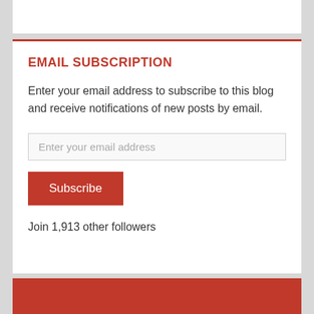EMAIL SUBSCRIPTION
Enter your email address to subscribe to this blog and receive notifications of new posts by email.
[Figure (other): Email input field with placeholder text 'Enter your email address']
[Figure (other): Subscribe button with orange-red background]
Join 1,913 other followers